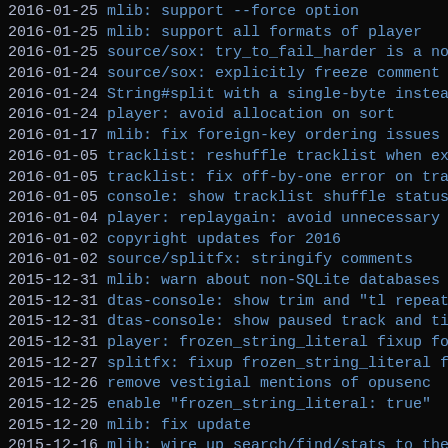2016-01-25   mlib: support --force option
2016-01-25   mlib: support all formats of player
2016-01-25   source/sox: try_to_fail_harder is a norm
2016-01-24   source/sox: explicitly freeze comment ke
2016-01-24   String#split with a single-byte instead
2016-01-24   player: avoid allocation on sort
2016-01-17   mlib: fix foreign-key ordering issues wi
2016-01-05   tracklist: reshuffle tracklist when exha
2016-01-05   tracklist: fix off-by-one error on track
2016-01-05   console: show tracklist shuffle status,
2016-01-04   player: replaygain: avoid unnecessary ig
2016-01-02   copyright updates for 2016
2016-01-02   source/splitfx: stringify comments
2015-12-31   mlib: warn about non-SQLite databases be
2015-12-31   dtas-console: show trim and "tl repeat"
2015-12-31   dtas-console: show paused track and time
2015-12-31   player: frozen_string_literal fixup for
2015-12-27   splitfx: fixup frozen_string_literal for
2015-12-26   remove vestigial mentions of opusenc
2015-12-25   enable "frozen_string_literal: true"
2015-12-20   mlib: fix update
2015-12-16   mlib: wire up search/find/stats to the U
2015-12-15   nodoc internal classes
2015-12-14   rg_state: fixup replaygain normalization
2015-12-14   player: implement software volume contro